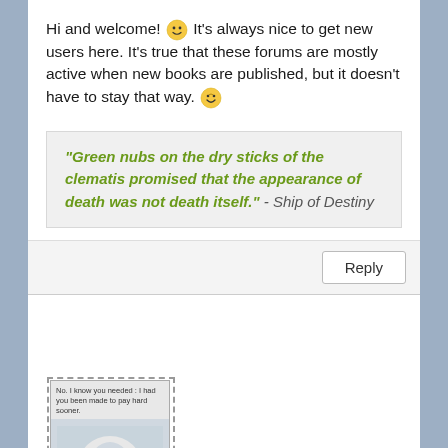Hi and welcome! 😊 It's always nice to get new users here. It's true that these forums are mostly active when new books are published, but it doesn't have to stay that way. 😄
"Green nubs on the dry sticks of the clematis promised that the appearance of death was not death itself." - Ship of Destiny
Reply
[Figure (photo): Small book cover thumbnail showing a face illustration with text at the top, inside a dashed border frame]